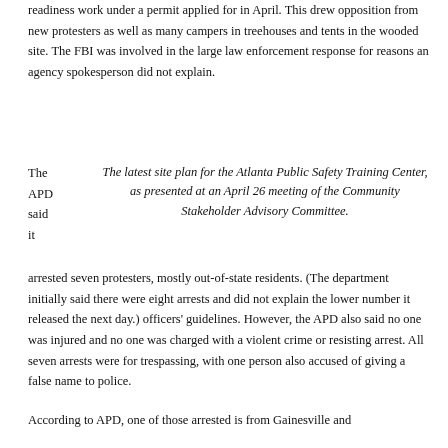readiness work under a permit applied for in April. This drew opposition from new protesters as well as many campers in treehouses and tents in the wooded site. The FBI was involved in the large law enforcement response for reasons an agency spokesperson did not explain.
The APD said it
The latest site plan for the Atlanta Public Safety Training Center, as presented at an April 26 meeting of the Community Stakeholder Advisory Committee.
arrested seven protesters, mostly out-of-state residents. (The department initially said there were eight arrests and did not explain the lower number it released the next day.) officers' guidelines. However, the APD also said no one was injured and no one was charged with a violent crime or resisting arrest. All seven arrests were for trespassing, with one person also accused of giving a false name to police.
According to APD, one of those arrested is from Gainesville and